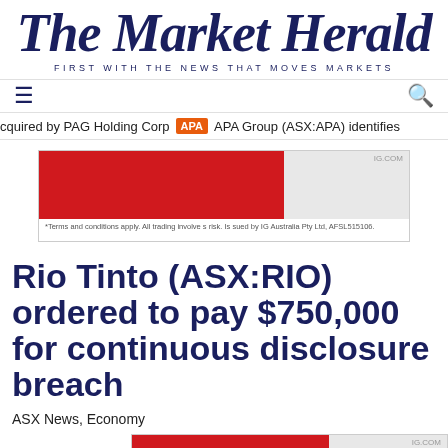[Figure (logo): The Market Herald masthead logo with tagline 'FIRST WITH THE NEWS THAT MOVES MARKETS']
≡  Q
cquired by PAG Holding Corp  APA  APA Group (ASX:APA) identifies
[Figure (other): IG.com advertisement banner with red and gray sections. Footer text: *Terms and conditions apply. All trading involves risk. Issued by IG Australia Pty Ltd, AFSL515106.]
Rio Tinto (ASX:RIO) ordered to pay $750,000 for continuous disclosure breach
ASX News, Economy
ASX:R
[Figure (other): IG.com advertisement banner with red and gray sections. Footer text: *Terms and conditions apply. All trading involves risk. Issued by IG Australia Pty Ltd, AFSL515106.]